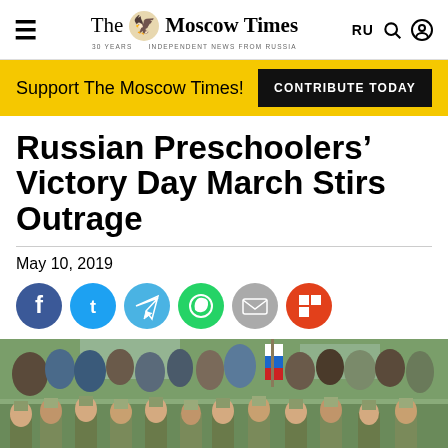The Moscow Times — Independent News From Russia
Support The Moscow Times!
CONTRIBUTE TODAY
Russian Preschoolers' Victory Day March Stirs Outrage
May 10, 2019
[Figure (other): Social sharing icons: Facebook, Twitter, Telegram, WhatsApp, Email, Flipboard]
[Figure (photo): Children dressed in WWII-era Soviet military uniforms marching in a Victory Day parade, with a crowd of adults and a Russian flag in the background.]